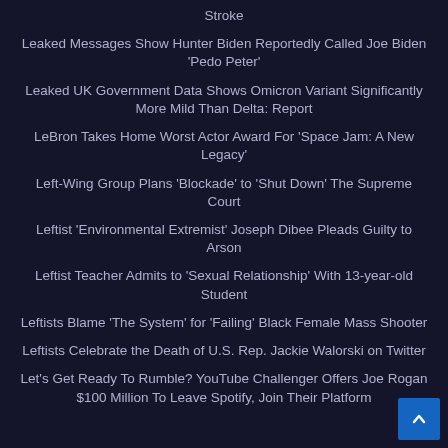Stroke
Leaked Messages Show Hunter Biden Reportedly Called Joe Biden 'Pedo Peter'
Leaked UK Government Data Shows Omicron Variant Significantly More Mild Than Delta: Report
LeBron Takes Home Worst Actor Award For 'Space Jam: A New Legacy'
Left-Wing Group Plans 'Blockade' to 'Shut Down' The Supreme Court
Leftist 'Environmental Extremist' Joseph Dibee Pleads Guilty to Arson
Leftist Teacher Admits to 'Sexual Relationship' With 13-year-old Student
Leftists Blame 'The System' for 'Failing' Black Female Mass Shooter
Leftists Celebrate the Death of U.S. Rep. Jackie Walorski on Twitter
Let's Get Ready To Rumble? YouTube Challenger Offers Joe Rogan $100 Million To Leave Spotify, Join Their Platform